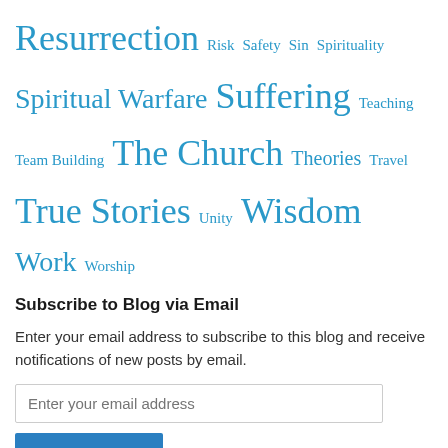Resurrection Risk Safety Sin Spirituality Spiritual Warfare Suffering Teaching Team Building The Church Theories Travel True Stories Unity Wisdom Work Worship
Subscribe to Blog via Email
Enter your email address to subscribe to this blog and receive notifications of new posts by email.
Enter your email address
Subscribe
Join 460 other followers